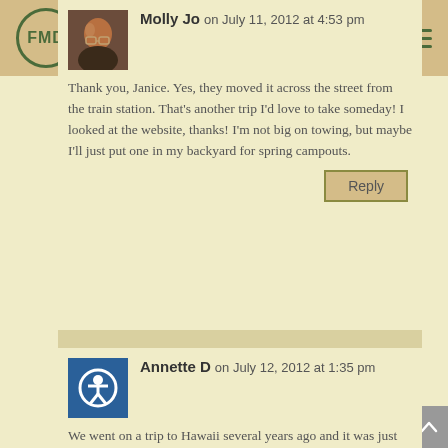FMD
Molly Jo on July 11, 2012 at 4:53 pm
Thank you, Janice. Yes, they moved it across the street from the train station. That's another trip I'd love to take someday! I looked at the website, thanks! I'm not big on towing, but maybe I'll just put one in my backyard for spring campouts.
Reply
Annette D on July 12, 2012 at 1:35 pm
We went on a trip to Hawaii several years ago and it was just wonderful!